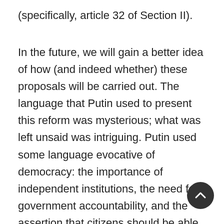(specifically, article 32 of Section II).
In the future, we will gain a better idea of how (and indeed whether) these proposals will be carried out. The language that Putin used to present this reform was mysterious; what was left unsaid was intriguing. Putin used some language evocative of democracy: the importance of independent institutions, the need for government accountability, and the assertion that citizens should be able to vote on the changes. But Putin conspicuously avoided using the term ‘democracy.’ He referred to vague threats that provided part of the context for reform. But he did not specify, or even hint, what these threats might be. He advocated strongly for the existing constitution to be revised, not replaced.